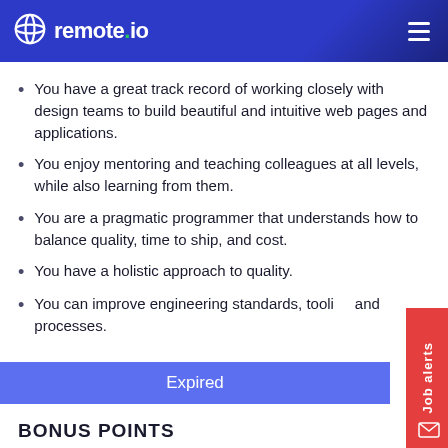remote.io
You have a great track record of working closely with design teams to build beautiful and intuitive web pages and applications.
You enjoy mentoring and teaching colleagues at all levels, while also learning from them.
You are a pragmatic programmer that understands how to balance quality, time to ship, and cost.
You have a holistic approach to quality.
You can improve engineering standards, tooling and processes.
Expired
BONUS POINTS